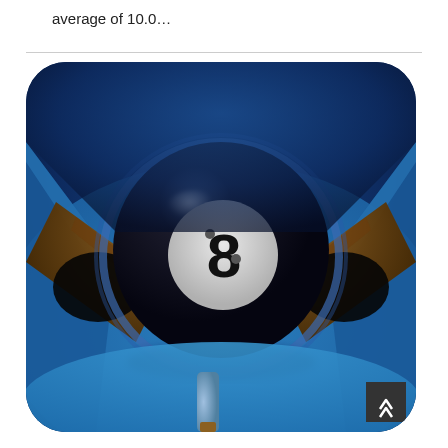average of 10.0...
[Figure (photo): App icon for an 8-ball pool game showing a close-up of a black 8-ball on a blue billiards table with a pool cue in the foreground and wooden pockets visible on the sides. The icon has rounded corners.]